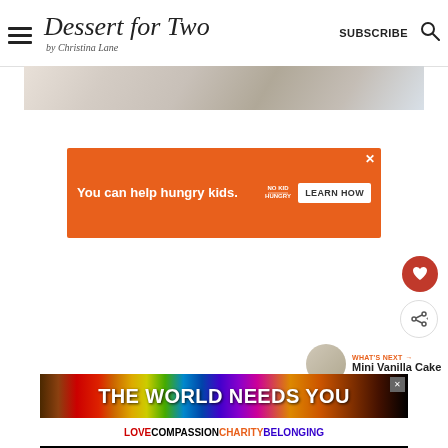Dessert for Two by Christina Lane — SUBSCRIBE
[Figure (photo): Partial photo of a dessert dish with teal/blue plate edge visible]
[Figure (infographic): Orange advertisement banner: You can help hungry kids. NO KID HUNGRY. LEARN HOW]
[Figure (other): Heart (favorite) button — red circle with heart icon]
[Figure (other): Share button — white circle with share icon]
[Figure (other): What's Next panel with thumbnail and text: Mini Vanilla Cake]
[Figure (infographic): Bottom advertisement: THE WORLD NEEDS YOU — LOVE COMPASSION CHARITY BELONGING with rainbow gradient]